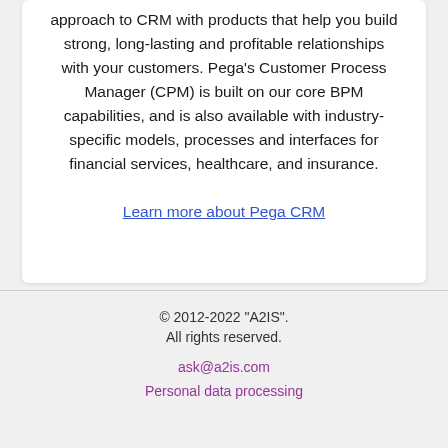approach to CRM with products that help you build strong, long-lasting and profitable relationships with your customers. Pega's Customer Process Manager (CPM) is built on our core BPM capabilities, and is also available with industry-specific models, processes and interfaces for financial services, healthcare, and insurance.
Learn more about Pega CRM
© 2012-2022 "A2IS".
All rights reserved.
ask@a2is.com
Personal data processing